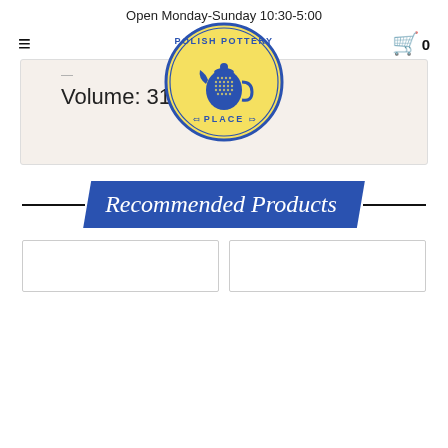Open Monday-Sunday 10:30-5:00
[Figure (logo): Polish Pottery Place circular logo with blue text on yellow background, featuring a blue pottery pitcher/jug in the center]
Volume: 31oz
Recommended Products
[Figure (other): Two empty product card placeholders at the bottom of the page]